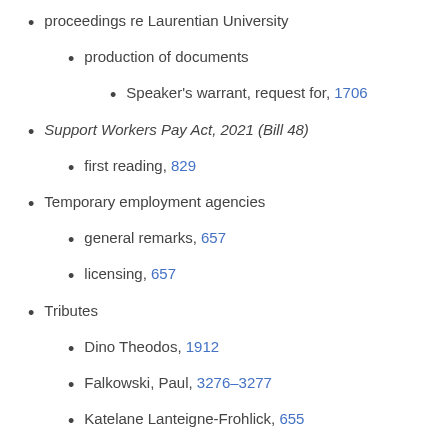proceedings re Laurentian University
production of documents
Speaker's warrant, request for, 1706
Support Workers Pay Act, 2021 (Bill 48)
first reading, 829
Temporary employment agencies
general remarks, 657
licensing, 657
Tributes
Dino Theodos, 1912
Falkowski, Paul, 3276-3277
Katelane Lanteigne-Frohlick, 655